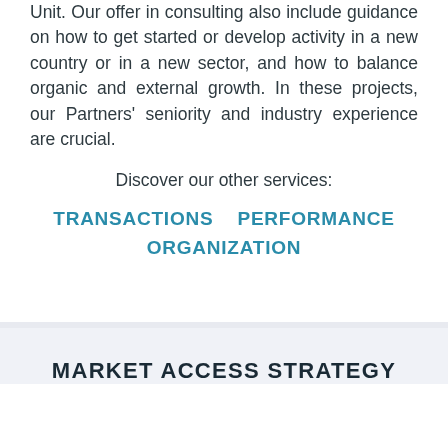Unit. Our offer in consulting also include guidance on how to get started or develop activity in a new country or in a new sector, and how to balance organic and external growth. In these projects, our Partners' seniority and industry experience are crucial.
Discover our other services:
TRANSACTIONS   PERFORMANCE ORGANIZATION
MARKET ACCESS STRATEGY